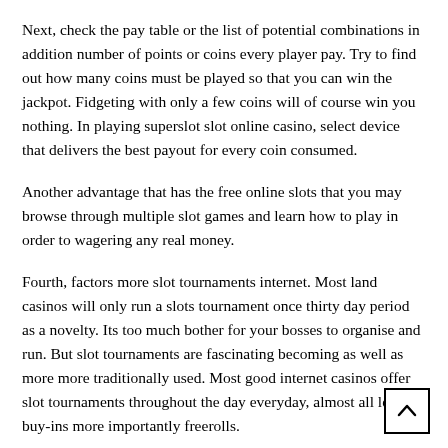Next, check the pay table or the list of potential combinations in addition number of points or coins every player pay. Try to find out how many coins must be played so that you can win the jackpot. Fidgeting with only a few coins will of course win you nothing. In playing superslot slot online casino, select device that delivers the best payout for every coin consumed.
Another advantage that has the free online slots that you may browse through multiple slot games and learn how to play in order to wagering any real money.
Fourth, factors more slot tournaments internet. Most land casinos will only run a slots tournament once thirty day period as a novelty. Its too much bother for your bosses to organise and run. But slot tournaments are fascinating becoming as well as more more traditionally used. Most good internet casinos offer slot tournaments throughout the day everyday, almost all level of buy-ins more importantly freerolls.
[Figure (other): A scroll-to-top button with an upward arrow icon, positioned in the bottom-right corner.]